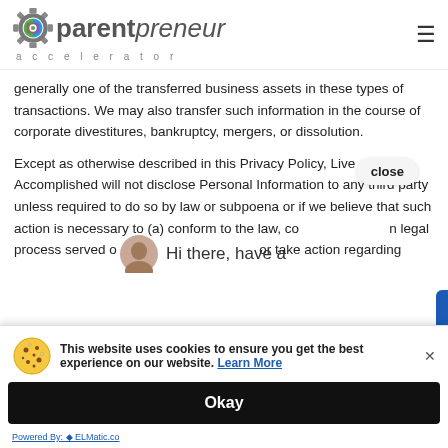Parentpreneur Accelerator
generally one of the transferred business assets in these types of transactions. We may also transfer such information in the course of corporate divestitures, bankruptcy, mergers, or dissolution.
Except as otherwise described in this Privacy Policy, Live Accomplished will not disclose Personal Information to any third party unless required to do so by law or subpoena or if we believe that such action is necessary to (a) conform to the law, co [close] n legal process served o [obscured] or take action regarding e [obscured] in [obscured] al [obscured] ct th [obscured] e ri [obscured] cu [obscured]
[Figure (screenshot): Cookie consent banner overlay with cookie icon, text 'This website uses cookies to ensure you get the best experience on our website. Learn More', an Okay button, and 'Powered By: ELMatic.co' link]
Compromise of Personal Information